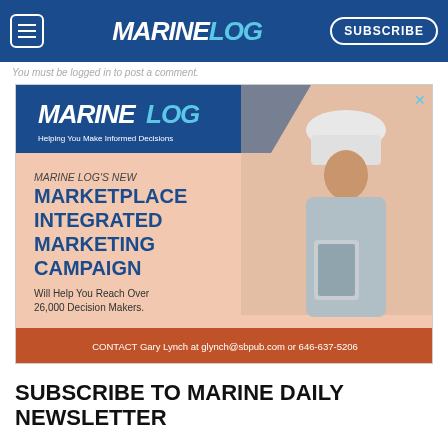MARINELOG — SUBSCRIBE
You must be logged in to post a comment.
[Figure (illustration): Marine Log advertisement banner: Blue diagonal logo header reading 'MARINELOG – Helping You Make Informed Decisions', large text reading 'MARINE LOG'S NEW MARKETPLACE INTEGRATED MARKETING CAMPAIGN Will Help You Reach Over 26,000 Decision Makers.', orange footer bar reading 'CONTACT Gary Lynch at glynch@sbpub.com or 646-637-5206', photo of woman in hard hat and grey blazer holding a tablet.]
SUBSCRIBE TO MARINE DAILY NEWSLETTER